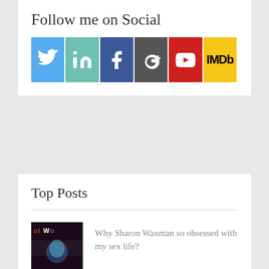Follow me on Social
[Figure (infographic): Six social media icon buttons: Twitter (light blue), LinkedIn (teal), Facebook (dark blue), Google+ (dark gray), YouTube (red), IMDb (gold)]
Top Posts
Why Sharon Waxman so obsessed with my sex life?
How Ting Ting Xu kept Chinese Journalists out of the HFPA?
Lucy Liu is saving the children of the world - Interview